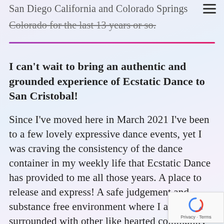San Diego California and Colorado Springs Colorado for the last 13 years or so.
I can't wait to bring an authentic and grounded experience of Ecstatic Dance to San Cristobal!
Since I've moved here in March 2021 I've been to a few lovely expressive dance events, yet I was craving the consistency of the dance container in my weekly life that Ecstatic Dance has provided to me all those years. A place to release and express! A safe judgement and substance free environment where I am surrounded with other like hearted community folx.
A place where we can all support each other moving through whatever is up for us emotionally, mentally, and physically on the